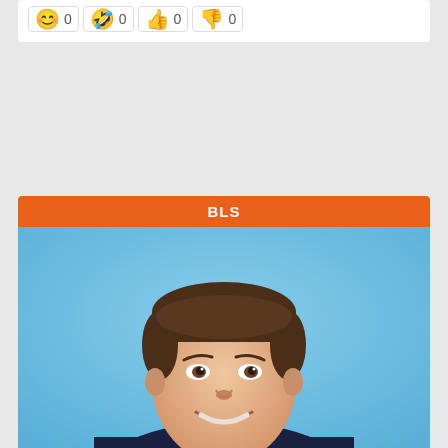[Figure (other): Reaction buttons with emoji (smiley face, laughing face, thumbs up, thumbs down) each showing count 0]
BLS
[Figure (photo): Headshot photo of a middle-aged man in a suit smiling against a blue background]